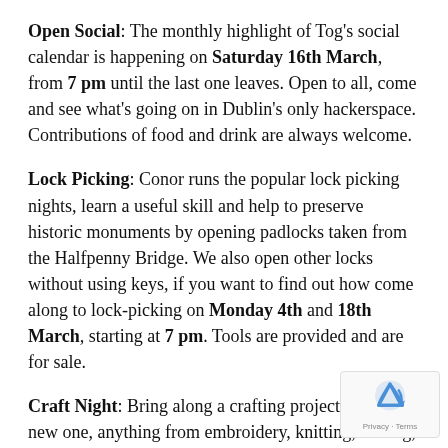Open Social: The monthly highlight of Tog's social calendar is happening on Saturday 16th March, from 7 pm until the last one leaves. Open to all, come and see what's going on in Dublin's only hackerspace. Contributions of food and drink are always welcome.
Lock Picking: Conor runs the popular lock picking nights, learn a useful skill and help to preserve historic monuments by opening padlocks taken from the Halfpenny Bridge. We also open other locks without using keys, if you want to find out how come along to lock-picking on Monday 4th and 18th March, starting at 7 pm. Tools are provided and are for sale.
Craft Night: Bring along a crafting project or start a new one, anything from embroidery, knitting, sewing, crochet to drawing and painting and t-shirt printing.